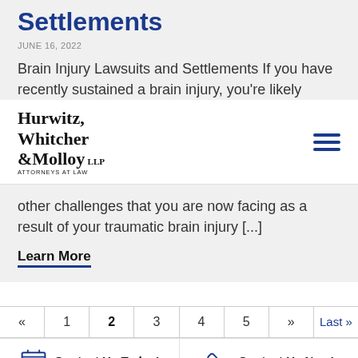Settlements
JUNE 16, 2022
Brain Injury Lawsuits and Settlements If you have recently sustained a brain injury, you're likely
[Figure (logo): Hurwitz, Whitcher & Molloy LLP Attorneys at Law logo with hamburger menu icon]
other challenges that you are now facing as a result of your traumatic brain injury [...]
Learn More
« 1 2 3 4 5 » Last »
Contact Us Today!   Contact Us Now!